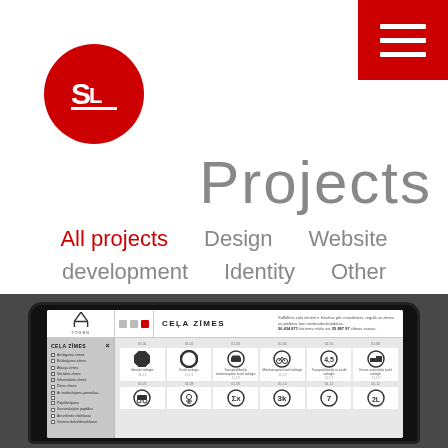[Figure (logo): Red circle logo with white 'SL' stylized text]
[Figure (other): Red hamburger menu button in top-right corner with three white horizontal lines]
Projects
All projects   Design   Website development   Identity   Other
[Figure (screenshot): Laptop mockup displaying a website called 'Cela Zimes' (Road Signs) showing a grid of road sign icons with Latvian text labels]